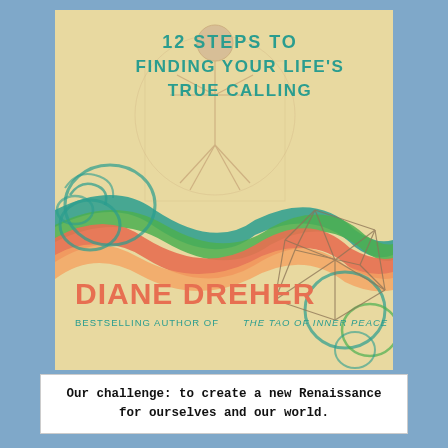[Figure (illustration): Book cover of 'Your Renaissance Life' by Diane Dreher. Features Vitruvian Man figure on parchment background with colorful flowing ribbon waves in teal, green, red, and orange. Geometric diamond/crystal shapes sketch on right side. Title text '12 STEPS TO FINDING YOUR LIFE'S TRUE CALLING' in teal bold letters at top. Author name 'DIANE DREHER' in large orange bold text at bottom left. Subtitle 'BESTSELLING AUTHOR OF THE TAO OF INNER PEACE' in small teal italic caps.]
Our challenge: to create a new Renaissance for ourselves and our world.